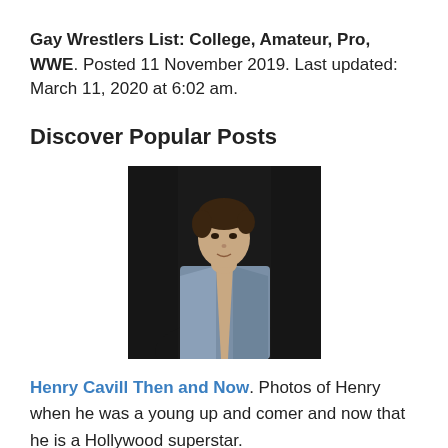Gay Wrestlers List: College, Amateur, Pro, WWE. Posted 11 November 2019. Last updated: March 11, 2020 at 6:02 am.
Discover Popular Posts
[Figure (photo): Young man with dark hair, wearing an open blue/grey shirt, posed against a dark background. Photo of Henry Cavill when young.]
Henry Cavill Then and Now. Photos of Henry when he was a young up and comer and now that he is a Hollywood superstar.